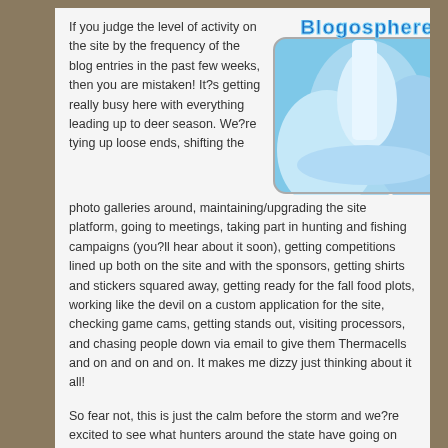If you judge the level of activity on the site by the frequency of the blog entries in the past few weeks, then you are mistaken!  It?s getting really busy here with everything leading up to deer season.  We?re tying up loose ends, shifting the photo galleries around, maintaining/upgrading the site platform, going to meetings, taking part in hunting and fishing campaigns (you?ll hear about it soon), getting competitions lined up both on the site and with the sponsors, getting shirts and stickers squared away, getting ready for the fall food plots, working like the devil on a custom application for the site, checking game cams, getting stands out, visiting processors, and chasing people down via email to give them Thermacells and on and on and on.  It makes me dizzy just thinking about it all!
[Figure (photo): Blogosphere logo with icy glacier background image showing blue ice formations]
So fear not, this is just the calm before the storm and we?re excited to see what hunters around the state have going on this coming season.  We?re anticipating some exciting footage coming from the low-state down around the Hanahan area as